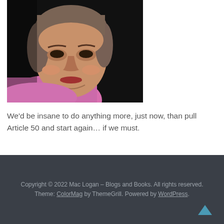[Figure (photo): Close-up photograph of a woman with short grey-brown hair wearing a pink top, against a dark/black background.]
We'd be insane to do anything more, just now, than pull Article 50 and start again… if we must.
Copyright © 2022 Mac Logan – Blogs and Books. All rights reserved. Theme: ColorMag by ThemeGrill. Powered by WordPress.